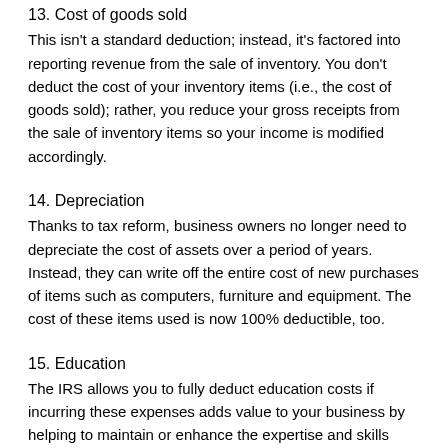13. Cost of goods sold
This isn't a standard deduction; instead, it's factored into reporting revenue from the sale of inventory. You don't deduct the cost of your inventory items (i.e., the cost of goods sold); rather, you reduce your gross receipts from the sale of inventory items so your income is modified accordingly.
14. Depreciation
Thanks to tax reform, business owners no longer need to depreciate the cost of assets over a period of years. Instead, they can write off the entire cost of new purchases of items such as computers, furniture and equipment. The cost of these items used is now 100% deductible, too.
15. Education
The IRS allows you to fully deduct education costs if incurring these expenses adds value to your business by helping to maintain or enhance the expertise and skills needed to operate it. Examples of valid business education expenses include